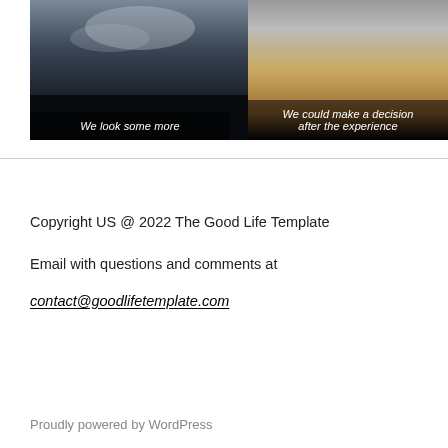[Figure (photo): Dark landscape photo with stormy sky and text overlay 'We look some more']
[Figure (photo): Sandy desert landscape photo with text overlay 'We could make a decision after the experience']
Copyright US @ 2022 The Good Life Template
Email with questions and comments at
contact@goodlifetemplate.com
Proudly powered by WordPress